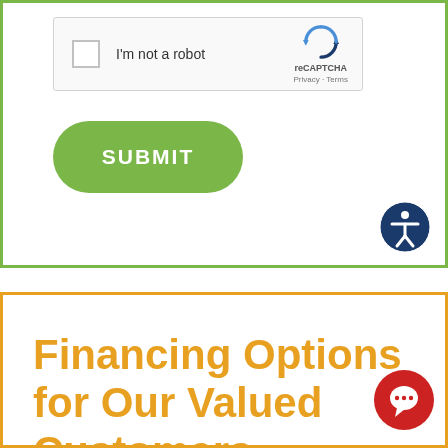[Figure (screenshot): reCAPTCHA widget with checkbox labeled 'I'm not a robot', reCAPTCHA logo, Privacy and Terms links]
[Figure (other): Green rounded SUBMIT button]
[Figure (other): Accessibility icon button (person inside circle, dark blue)]
Financing Options for Our Valued Customers